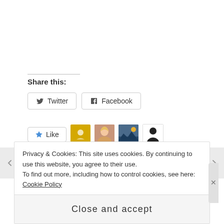Share this:
[Figure (screenshot): Twitter share button with bird icon]
[Figure (screenshot): Facebook share button with Facebook icon]
[Figure (screenshot): Like button with star icon and 4 blogger avatars]
4 bloggers like this.
Privacy & Cookies: This site uses cookies. By continuing to use this website, you agree to their use. To find out more, including how to control cookies, see here: Cookie Policy
Close and accept